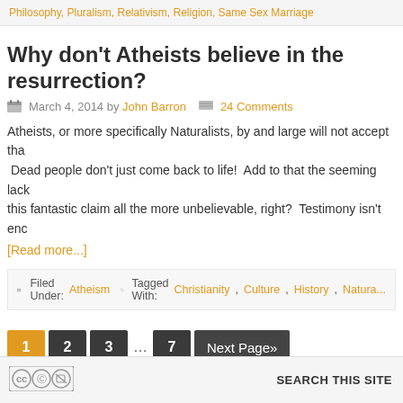Philosophy, Pluralism, Relativism, Religion, Same Sex Marriage
Why don't Atheists believe in the resurrection?
March 4, 2014 by John Barron   24 Comments
Atheists, or more specifically Naturalists, by and large will not accept tha... Dead people don't just come back to life!  Add to that the seeming lack... this fantastic claim all the more unbelievable, right?  Testimony isn't enc... [Read more...]
Filed Under: Atheism   Tagged With: Christianity, Culture, History, Natura...
1 2 3 … 7 Next Page»
SEARCH THIS SITE